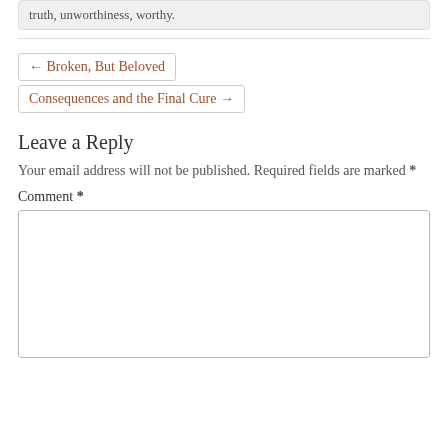truth, unworthiness, worthy.
← Broken, But Beloved
Consequences and the Final Cure →
Leave a Reply
Your email address will not be published. Required fields are marked *
Comment *
[Figure (other): Empty comment text area input box]